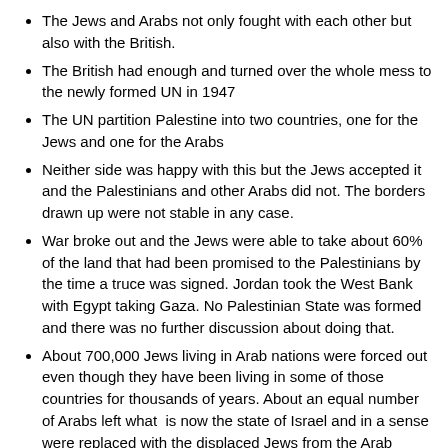The Jews and Arabs not only fought with each other but also with the British.
The British had enough and turned over the whole mess to the newly formed UN in 1947
The UN partition Palestine into two countries, one for the Jews and one for the Arabs
Neither side was happy with this but the Jews accepted it and the Palestinians and other Arabs did not. The borders drawn up were not stable in any case.
War broke out and the Jews were able to take about 60% of the land that had been promised to the Palestinians by the time a truce was signed. Jordan took the West Bank with Egypt taking Gaza. No Palestinian State was formed and there was no further discussion about doing that.
About 700,000 Jews living in Arab nations were forced out even though they have been living in some of those countries for thousands of years. About an equal number of Arabs left what is now the state of Israel and in a sense were replaced with the displaced Jews from the Arab lands.
Israel occupied the West Bank and Gaza as a result of the 1967 war.
Jordan threw out the PLO in 1970.
Israel and Jordan signed a peace agreement in 1994.  As part of that, Jordan gave up their claim to the West Bank and the idea of an